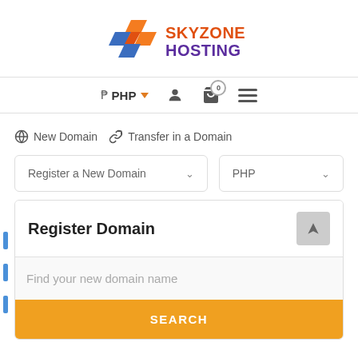[Figure (logo): Skyzone Hosting logo with geometric diamond icon in blue/orange and text 'SKYZONE HOSTING' in orange/purple gradient]
[Figure (screenshot): Navigation bar with PHP currency selector, user icon, cart icon with 0 badge, and hamburger menu]
New Domain   Transfer in a Domain
[Figure (screenshot): Dropdown selects: 'Register a New Domain' and 'PHP' currency]
Register Domain
Find your new domain name
SEARCH